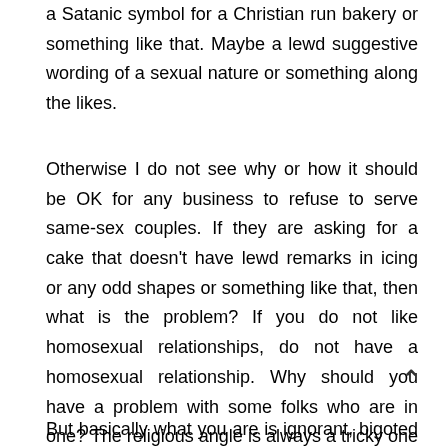a Satanic symbol for a Christian run bakery or something like that. Maybe a lewd suggestive wording of a sexual nature or something along the likes.
Otherwise I do not see why or how it should be OK for any business to refuse to serve same-sex couples. If they are asking for a cake that doesn't have lewd remarks in icing or any odd shapes or something like that, then what is the problem? If you do not like homosexual relationships, do not have a homosexual relationship. Why should you have a problem with some folks who are in one? The religious angle is always a tricky one because people get so sensitive and authorities as well are reluctant to touch it.
But basically what you are is ignorant, bigoted and beyond, bigotry for not accepting their...